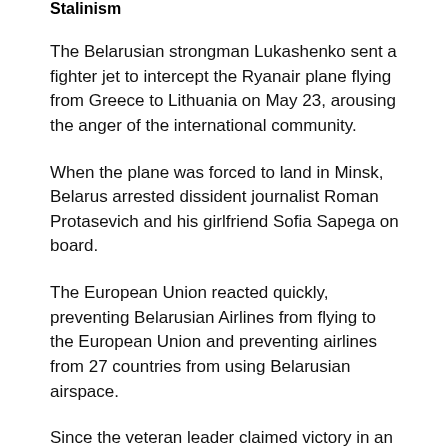Stalinism
The Belarusian strongman Lukashenko sent a fighter jet to intercept the Ryanair plane flying from Greece to Lithuania on May 23, arousing the anger of the international community.
When the plane was forced to land in Minsk, Belarus arrested dissident journalist Roman Protasevich and his girlfriend Sofia Sapega on board.
The European Union reacted quickly, preventing Belarusian Airlines from flying to the European Union and preventing airlines from 27 countries from using Belarusian airspace.
Since the veteran leader claimed victory in an election deemed fraudulent by the West in August, the EU has imposed sanctions on 88 people last year, including Lukashenko and his son.